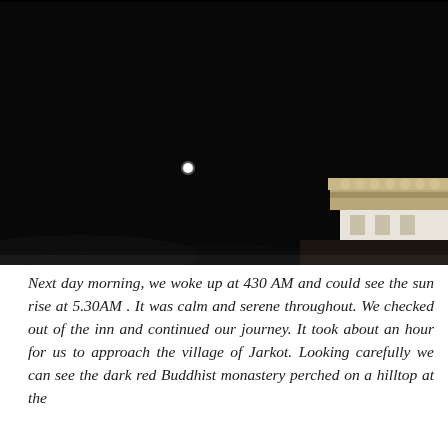[Figure (photo): Dark nighttime photograph showing a nearly black sky with a single bright white dot (moon or star) visible. In the lower right corner, part of a building structure with decorative elements is faintly visible against the dark sky.]
Next day morning, we woke up at 430 AM and could see the sun rise at 5.30AM . It was calm and serene throughout. We checked out of the inn and continued our journey. It took about an hour for us to approach the village of Jarkot. Looking carefully we can see the dark red Buddhist monastery perched on a hilltop at the